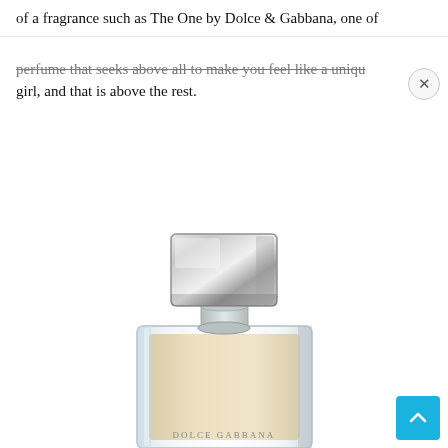of a fragrance such as The One by Dolce & Gabbana, one of
perfume that seeks above all to make you feel like a unique girl, and that is above the rest.
[Figure (photo): A perfume bottle of Dolce & Gabbana 'The One' fragrance, showing a clear rectangular glass bottle with a large silver metallic cap/stopper, containing a cream/ivory colored perfume. The bottle has 'DOLCE GABBANA' text visible at the bottom.]